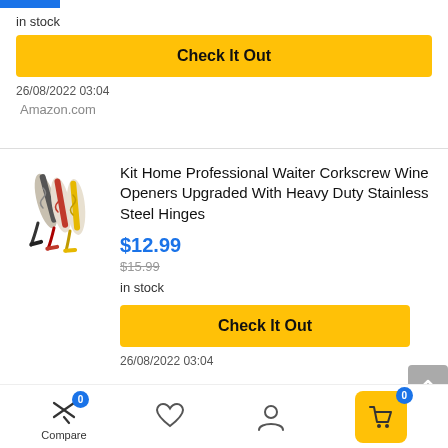in stock
Check It Out
26/08/2022 03:04
Amazon.com
[Figure (photo): Product photo of multiple corkscrew wine openers in different colors (black, red, yellow)]
Kit Home Professional Waiter Corkscrew Wine Openers Upgraded With Heavy Duty Stainless Steel Hinges
$12.99
$15.99
in stock
Check It Out
26/08/2022 03:04